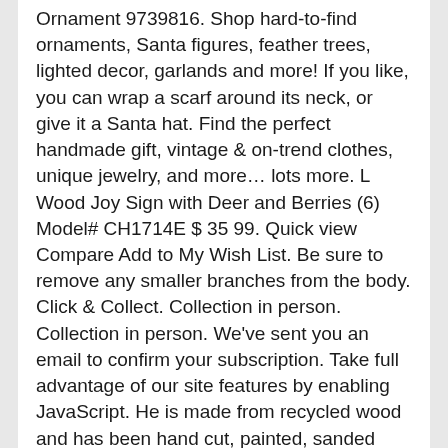Ornament 9739816. Shop hard-to-find ornaments, Santa figures, feather trees, lighted decor, garlands and more! If you like, you can wrap a scarf around its neck, or give it a Santa hat. Find the perfect handmade gift, vintage & on-trend clothes, unique jewelry, and more… lots more. L Wood Joy Sign with Deer and Berries (6) Model# CH1714E $ 35 99. Quick view Compare Add to My Wish List. Be sure to remove any smaller branches from the body. Click & Collect. Collection in person. Collection in person. We've sent you an email to confirm your subscription. Take full advantage of our site features by enabling JavaScript. He is made from recycled wood and has been hand cut, painted, sanded and embellished with red glitter on his nose and the antlers are made of pipe cleaners. Tatuo Wooden Reindeer Cutouts Christmas Reindeer Hanging Ornaments with Ropes for Decoration …